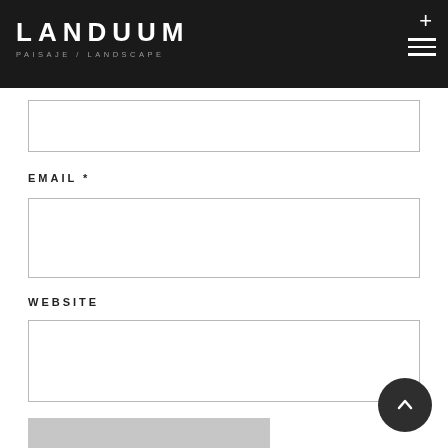LANDUUM PAISAJE / LANDSCAPE
EMAIL *
WEBSITE
POST COMMENT